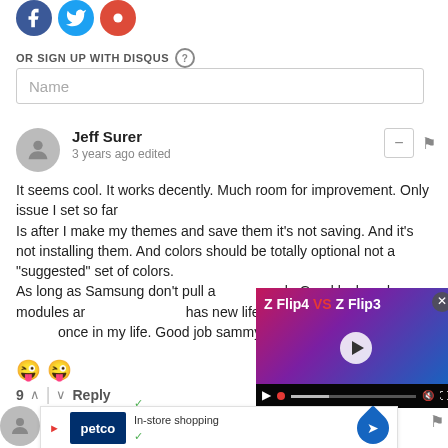[Figure (illustration): Social media icon circles (Facebook, Twitter, Google+) in blue and red colors at top of page]
OR SIGN UP WITH DISQUS ?
Name
Jeff Surer
3 years ago edited
It seems cool. It works decently. Much room for improvement. Only issue I set so far
Is after I make my themes and save them it's not saving. And it's not installing them. And colors should be totally optional not a "suggested" set of colors.
As long as Samsung don't pull a week. Good lock and modules ar has new life due to goodlock. An once in my life. Good job sammy
[Figure (screenshot): Video overlay showing 'Z Flip4 VS Z Flip3' comparison video with play button and video controls]
9 ^ | v Reply
[Figure (screenshot): Petco advertisement bar showing In-store shopping and Curbside pickup options with map pin icon]